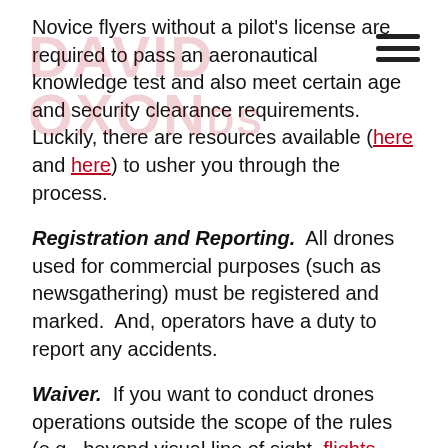Novice flyers without a pilot's license are required to pass an aeronautical knowledge test and also meet certain age and security clearance requirements. Luckily, there are resources available (here and here) to usher you through the process.
Registration and Reporting. All drones used for commercial purposes (such as newsgathering) must be registered and marked. And, operators have a duty to report any accidents.
Waiver. If you want to conduct drones operations outside the scope of the rules (e.g., beyond visual line of sight, flights over people), you may request a waiver via the FAA's new online portal. Both the FAA and the Department of Transportation have released guidance on the new process, and we are available to answer any questions you have along